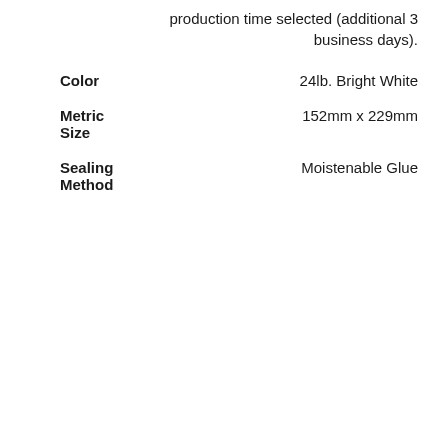production time selected (additional 3 business days).
Color	24lb. Bright White
Metric Size	152mm x 229mm
Sealing Method	Moistenable Glue